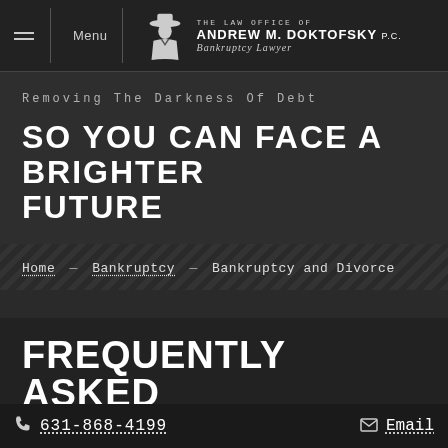Menu | The Law Office of Andrew M. Doktofsky P.C. Bankruptcy Lawyer
Removing The Darkness Of Debt
SO YOU CAN FACE A BRIGHTER FUTURE
Home — Bankruptcy — Bankruptcy and Divorce
Frequently Asked
631-868-4199  Email